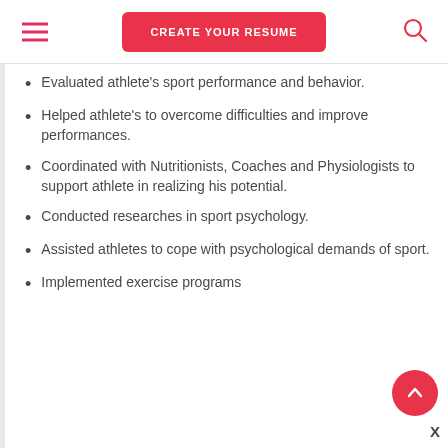CREATE YOUR RESUME
Evaluated athlete’s sport performance and behavior.
Helped athlete’s to overcome difficulties and improve performances.
Coordinated with Nutritionists, Coaches and Physiologists to support athlete in realizing his potential.
Conducted researches in sport psychology.
Assisted athletes to cope with psychological demands of sport.
Implemented exercise programs